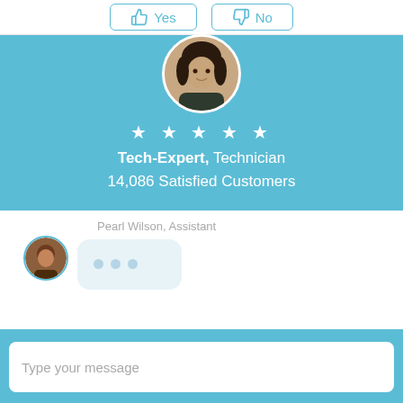[Figure (screenshot): Top bar with Yes and No thumbs vote buttons in teal color]
[Figure (photo): Circular avatar photo of a woman (Tech-Expert) with dark hair, professional appearance]
★ ★ ★ ★ ★
Tech-Expert, Technician
14,086 Satisfied Customers
Pearl Wilson, Assistant
[Figure (screenshot): Typing indicator bubble with three dots, indicating assistant is typing]
Type your message